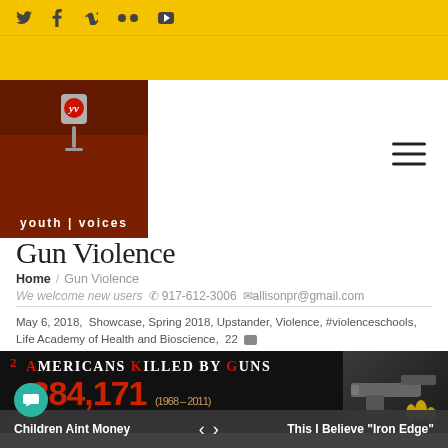Social media icons: Twitter, Facebook, Vimeo, Flickr, YouTube
[Figure (logo): Youth Voices logo - circular YV emblem on dark red background with microphone, text 'youth | voices']
Gun Violence
Home / Gun Violence
We welcome new users  ☎ 917-612-3006 ✉ allisonpr@gmail.com
May 6, 2018,  Showcase, Spring 2018, Upstander, Violence, #violenceschools, Life Academy of Health and Bioscience,  22
[Figure (infographic): Dark infographic showing 'Americans Killed By Guns' with statistic 1,384,171 (1968-2011), with gun image on right side]
Children Aint Money  <  >  This I Believe "Iron Edge"